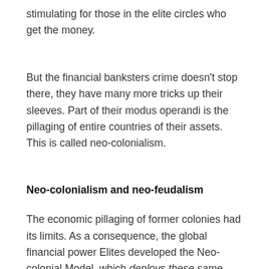stimulating for those in the elite circles who get the money.
But the financial banksters crime doesn't stop there, they have many more tricks up their sleeves. Part of their modus operandi is the pillaging of entire countries of their assets. This is called neo-colonialism.
Neo-colonialism and neo-feudalism
The economic pillaging of former colonies had its limits. As a consequence, the global financial power Elites developed the Neo-colonial Model, which deploys these same tactics in one's home region.